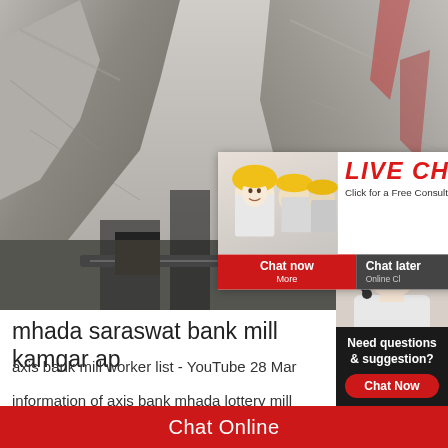[Figure (photo): Rocky cliff/quarry scene with machinery, background of a mining or construction website]
[Figure (screenshot): Live chat popup overlay with workers in yellow helmets, LIVE CHAT title in red, 'Click for a Free Consultation', Chat now and Chat later buttons]
[Figure (photo): Customer service representative wearing headset on right side]
mhada saraswat bank mill kamgar ap
axis bank mill worker list - YouTube 28 Mar
information of axis bank mhada lottery mill
[Figure (screenshot): Need questions & suggestion? Chat Now button panel in dark background]
Chat Online